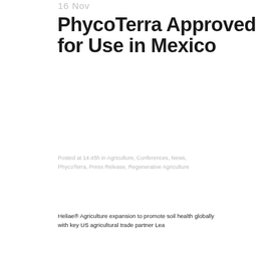16 Nov
PhycoTerra Approved for Use in Mexico
Posted at 14:45h in Agriculture, Conferences, News, PhycoTerra, Press Release, Regenerative Agriculture
Heliae® Agriculture expansion to promote soil health globally with key US agricultural trade partner Lea